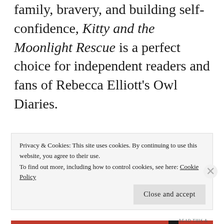family, bravery, and building self-confidence, Kitty and the Moonlight Rescue is a perfect choice for independent readers and fans of Rebecca Elliott's Owl Diaries.
Kitty is special. Her mother is a superhero with catlike powers
Privacy & Cookies: This site uses cookies. By continuing to use this website, you agree to their use. To find out more, including how to control cookies, see here: Cookie Policy